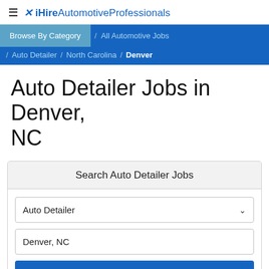iHireAutomotiveProfessionals
Browse By Category / All Automotive Jobs / Auto Detailer / North Carolina / Denver
Auto Detailer Jobs in Denver, NC
Search Auto Detailer Jobs
Auto Detailer
Denver, NC
Search